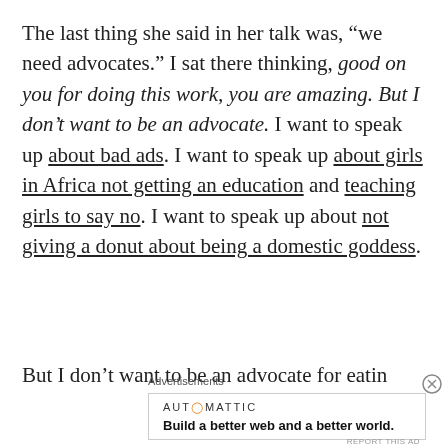The last thing she said in her talk was, “we need advocates.” I sat there thinking, good on you for doing this work, you are amazing. But I don’t want to be an advocate. I want to speak up about bad ads. I want to speak up about girls in Africa not getting an education and teaching girls to say no. I want to speak up about not giving a donut about being a domestic goddess.
But I don’t want to be an advocate for eatin…
Advertisements
AUTOMATTIC
Build a better web and a better world.